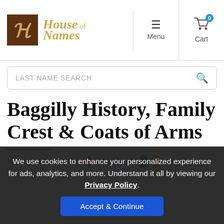House of Names — Menu | Cart
LAST NAME SEARCH
Baggilly History, Family Crest & Coats of Arms
Origins Available: England | Ireland
We use cookies to enhance your personalized experience for ads, analytics, and more. Understand it all by viewing our Privacy Policy. Accept & Continue